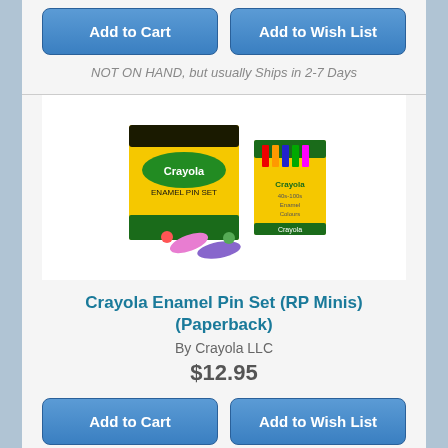Add to Cart
Add to Wish List
NOT ON HAND, but usually Ships in 2-7 Days
[Figure (photo): Crayola Enamel Pin Set product photo showing yellow box and crayola crayon booklet with scattered enamel pins]
Crayola Enamel Pin Set (RP Minis) (Paperback)
By Crayola LLC
$12.95
Add to Cart
Add to Wish List
NOT ON HAND, but usually Ships in 2-7 Days
[Figure (photo): Enamel pins collection on dark background showing various circular pin designs]